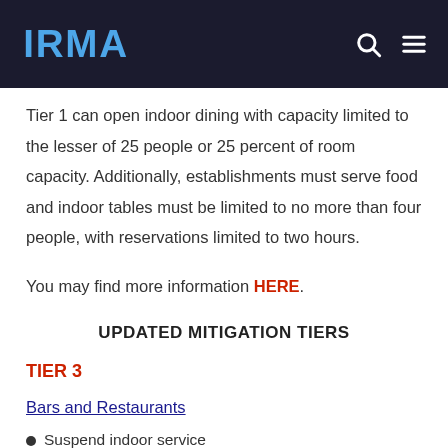IRMA
Tier 1 can open indoor dining with capacity limited to the lesser of 25 people or 25 percent of room capacity. Additionally, establishments must serve food and indoor tables must be limited to no more than four people, with reservations limited to two hours.
You may find more information HERE.
UPDATED MITIGATION TIERS
TIER 3
Bars and Restaurants
Suspend indoor service